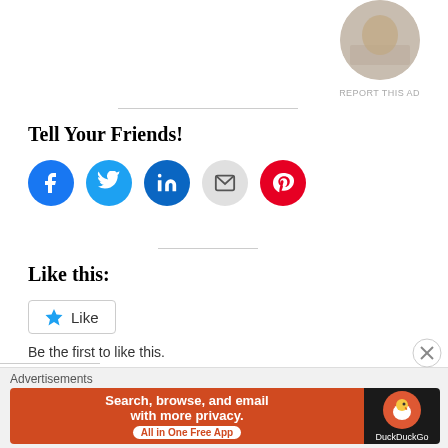[Figure (photo): Circular profile photo of a person writing at a desk, cropped at top]
REPORT THIS AD
Tell Your Friends!
[Figure (infographic): Row of social share buttons: Facebook (blue), Twitter (light blue), LinkedIn (dark blue), Email (gray), Pinterest (red)]
Like this:
[Figure (infographic): WordPress Like button widget with star icon and 'Like' text in a rounded rectangle]
Be the first to like this.
Related
[Figure (photo): Two related article thumbnail images side by side, partially visible]
Advertisements
[Figure (infographic): DuckDuckGo advertisement banner: orange left side with text 'Search, browse, and email with more privacy. All in One Free App', dark right side with DuckDuckGo logo]